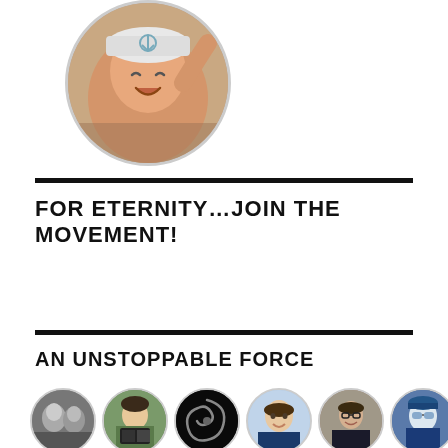[Figure (photo): Circular profile photo of a man wearing a peace-sign cap, laughing, photographed indoors]
FOR ETERNITY…JOIN THE MOVEMENT!
AN UNSTOPPABLE FORCE
[Figure (photo): Row of six circular avatar profile photos: a couple in black and white, a woman reading, a dark swirl logo, a smiling man, a person in formal wear, and a person in winter gear]